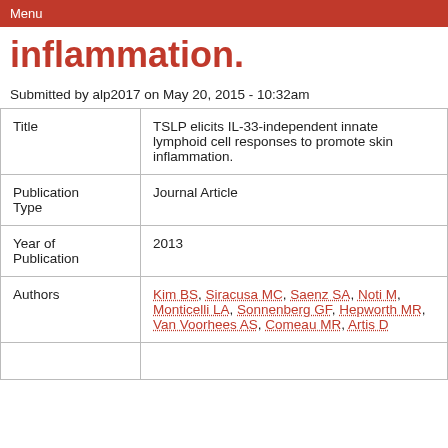Menu
inflammation.
Submitted by alp2017 on May 20, 2015 - 10:32am
| Field | Value |
| --- | --- |
| Title | TSLP elicits IL-33-independent innate lymphoid cell responses to promote skin inflammation. |
| Publication Type | Journal Article |
| Year of Publication | 2013 |
| Authors | Kim BS, Siracusa MC, Saenz SA, Noti M, Monticelli LA, Sonnenberg GF, Hepworth MR, Van Voorhees AS, Comeau MR, Artis D |